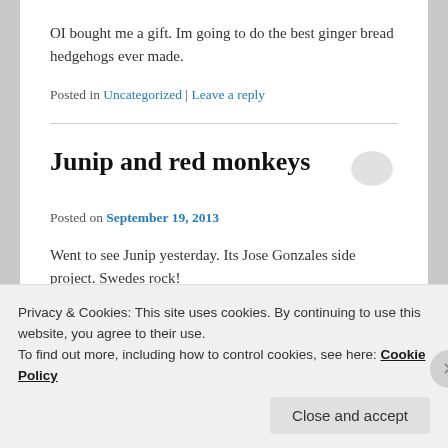OI bought me a gift. Im going to do the best ginger bread hedgehogs ever made.
Posted in Uncategorized | Leave a reply
Junip and red monkeys
Posted on September 19, 2013
Went to see Junip yesterday. Its Jose Gonzales side project. Swedes rock!
Privacy & Cookies: This site uses cookies. By continuing to use this website, you agree to their use.
To find out more, including how to control cookies, see here: Cookie Policy